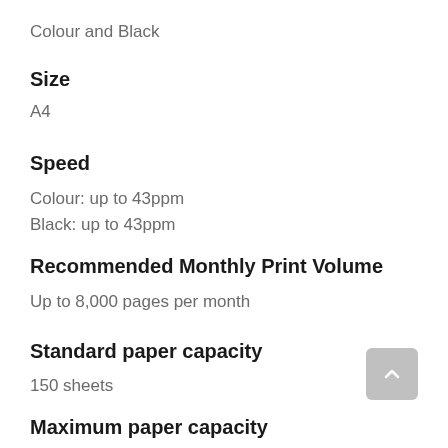Colour and Black
Size
A4
Speed
Colour: up to 43ppm
Black: up to 43ppm
Recommended Monthly Print Volume
Up to 8,000 pages per month
Standard paper capacity
150 sheets
Maximum paper capacity